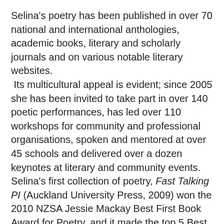Selina's poetry has been published in over 70 national and international anthologies, academic books, literary and scholarly journals and on various notable literary websites.  Its multicultural appeal is evident; since 2005 she has been invited to take part in over 140 poetic performances, has led over 110 workshops for community and professional organisations, spoken and mentored at over 45 schools and delivered over a dozen keynotes at literary and community events. Selina's first collection of poetry, Fast Talking PI (Auckland University Press, 2009) won the 2010 NZSA Jessie Mackay Best First Book Award for Poetry, and it made the top 5 Best Sellers List shortly after publication. Albert Wendt wrote in praise of the book: 'A new generation of poets has emerged in Aotearoa and the Pacific. Most of that generation are women, and Selina Tusitala Marsh, in this, her first collection, shows she is one of the most gifted and influential members of that generation.'
Cathie Koa Dunsford wrote in the Australian Women's Book Review, 'She peppers her poetic narrative with the rhythms and staccato of urban hip hop beats, in tune with slick